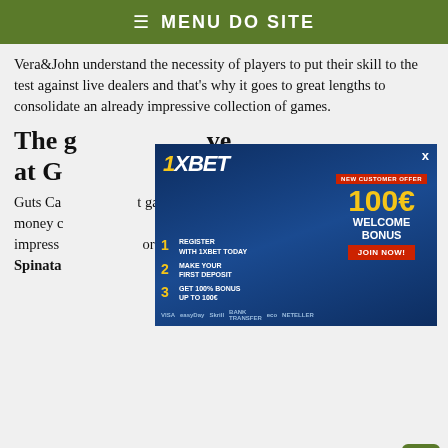≡ MENU DO SITE
Vera&John understand the necessity of players to put their skill to the test against live dealers and that's why it goes to great lengths to consolidate an already impressive collection of games.
The g[ames offered li]ve at Gu[ts Casino]
Guts Ca[sino offers real] games money c[an...] impress[ive...] orated Spinata[...]
[Figure (infographic): 1XBET advertisement banner showing football players, steps to register (1. Register with 1XBET today, 2. Make your first deposit, 3. Get 100% bonus up to 100€), new customer offer of 100€ Welcome Bonus, Join Now button, and payment methods (Visa, EasyPay, Skrill, Bank Transfer, eco, Neteller). Close button X in top right.]
It was obvious right from the start of the year, that this video slot has tremendous potential and it was among the favorites at the EGR Operator Awards 2015. Continue reading